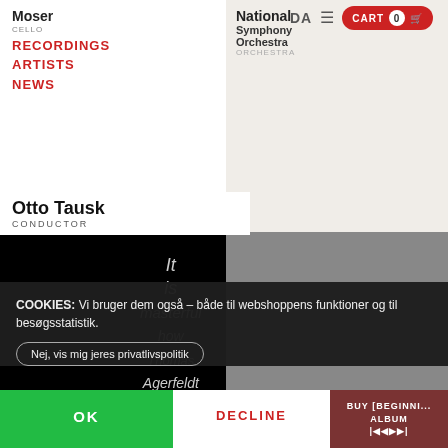RECORDINGS ARTISTS NEWS
Moser
CELLO
National
Symphony
ORCHESTRA
DA
CART 0
Otto Tausk
CONDUCTOR
It is masterful how Thomas Agerfeldt
COOKIES: Vi bruger dem også – både til webshoppens funktioner og til besøgsstatistik.
Nej, vis mig jeres privatlivspolitik
OK
DECLINE
BUY [Beginni...
ALBUM